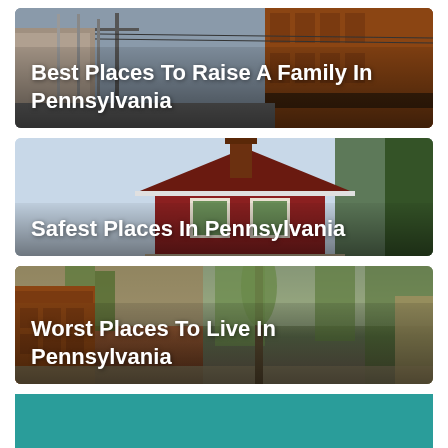[Figure (photo): Street scene with utility poles and brick buildings in Pennsylvania town]
Best Places To Raise A Family In Pennsylvania
[Figure (photo): Red house with chimney and white trim against light sky with trees]
Safest Places In Pennsylvania
[Figure (photo): Neighborhood street with trees and brick row houses in Pennsylvania]
Worst Places To Live In Pennsylvania
[Figure (other): Teal/turquoise bottom bar section]